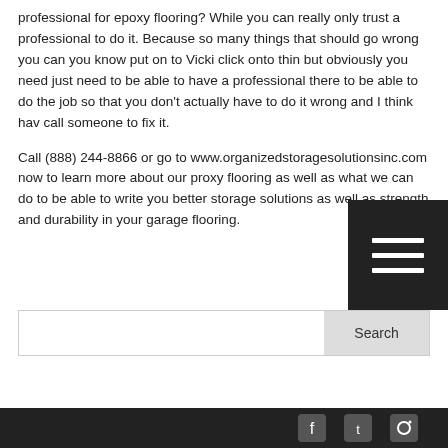professional for epoxy flooring? While you can really only trust a professional to do it. Because so many things that should go wrong you can you know put on to Vicki click onto thin but obviously you need just need to be able to have a professional there to be able to do the job so that you don't actually have to do it wrong and I think hav call someone to fix it.
Call (888) 244-8866 or go to www.organizedstoragesolutionsinc.com now to learn more about our proxy flooring as well as what we can do to be able to write you better storage solutions as well as strength and durability in your garage flooring.
[Figure (other): Dark hamburger menu icon with three horizontal white lines on black square background]
[Figure (other): Search bar with text input and Search button]